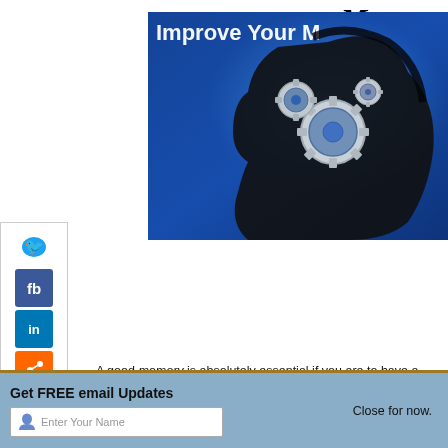Memory
[Figure (illustration): A dark silhouette of a human head in profile facing right against a blue background, with metallic gear/cog wheels inside the head area suggesting brain/memory mechanics. Text 'Improve Your M...' appears at the top of the image.]
A good memory is absolutely essential if you are to have a succ... convince you of the many advantages that having a good memo... in conversation, speedier learning and acquiring of qualification... forgetting the freedom from regrets, humiliations & embarrassments caused by poor memory.
Get FREE email Updates
Close for now.
Enter Your Name